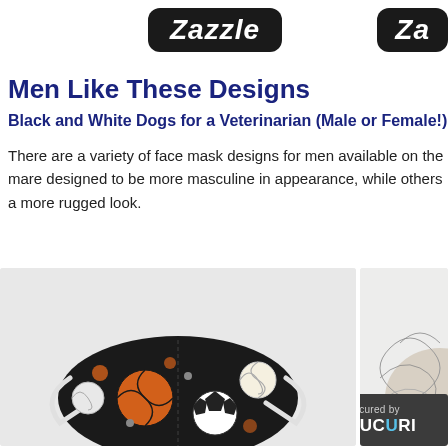[Figure (logo): Zazzle logo - white italic bold text on black rounded rectangle, left-center position]
[Figure (logo): Zazzle logo partial - white italic bold text on black rounded rectangle, right edge cropped]
Men Like These Designs
Black and White Dogs for a Veterinarian (Male or Female!)
There are a variety of face mask designs for men available on the market. Some are designed to be more masculine in appearance, while others are designed for a more rugged look.
[Figure (photo): Face mask with sports balls pattern (basketball, soccer ball, volleyball) in orange, black and white on dark background]
[Figure (photo): Partial view of another face mask with floral or decorative pattern in light/beige tones]
[Figure (other): Sucuri security badge - dark background with checkmark and 'secured by Sucuri' text]